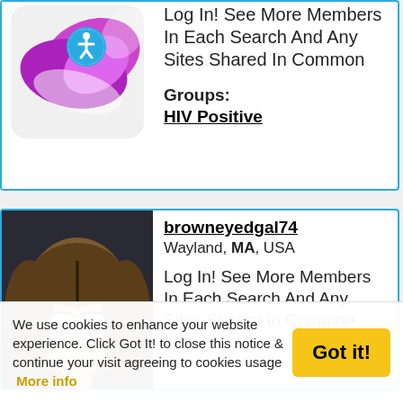[Figure (screenshot): Card 1: App icon with purple/pink hexagonal shapes and accessibility circle overlay]
Log In! See More Members In Each Search And Any Sites Shared In Common
Groups:
HIV Positive
[Figure (illustration): Cartoon avatar of a woman with brown hair]
browneyedgal74
Wayland, MA, USA
Log In! See More Members In Each Search And Any Sites Shared In Common
We use cookies to enhance your website experience. Click Got It! to close this notice & continue your visit agreeing to cookies usage  More info
Got it!